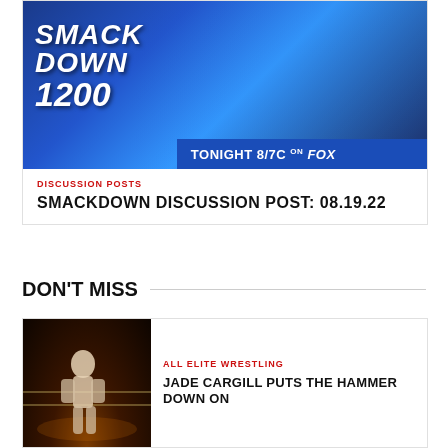[Figure (photo): WWE SmackDown 1200 promotional image showing four female wrestlers, with 'SMACK DOWN 1200' logo and 'TONIGHT 8/7c ON FOX' banner]
DISCUSSION POSTS
SMACKDOWN DISCUSSION POST: 08.19.22
DON'T MISS
[Figure (photo): Wrestling match photo with a performer in a ring under arena lighting]
ALL ELITE WRESTLING
JADE CARGILL PUTS THE HAMMER DOWN ON